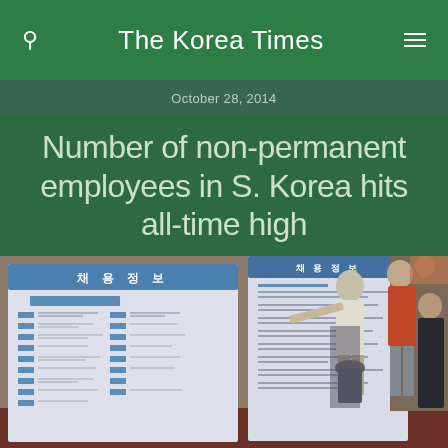The Korea Times
October 28, 2014
Number of non-permanent employees in S. Korea hits all-time high
[Figure (photo): Photo of a job fair in South Korea showing employment information boards (채용정보) with lists of job postings, and people standing nearby reviewing the listings.]